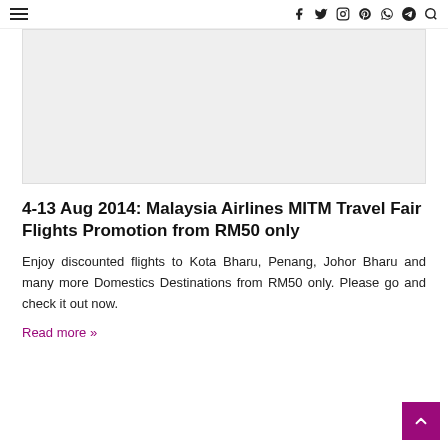Navigation bar with hamburger menu and social icons: Facebook, Twitter, Instagram, Pinterest, WhatsApp, Telegram, Search
[Figure (photo): Gray rectangular image placeholder area]
4-13 Aug 2014: Malaysia Airlines MITM Travel Fair Flights Promotion from RM50 only
Enjoy discounted flights to Kota Bharu, Penang, Johor Bharu and many more Domestics Destinations from RM50 only. Please go and check it out now.
Read more »